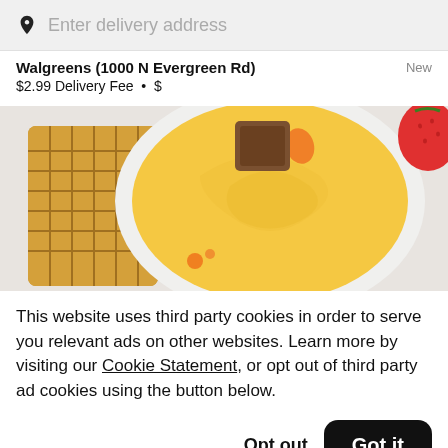Enter delivery address
Walgreens (1000 N Evergreen Rd)  New
$2.99 Delivery Fee • $
[Figure (photo): Food photo showing a bowl of yellow creamy spread/butter with a waffle on the left side and a strawberry on the right side, on a white surface.]
This website uses third party cookies in order to serve you relevant ads on other websites. Learn more by visiting our Cookie Statement, or opt out of third party ad cookies using the button below.
Opt out
Got it